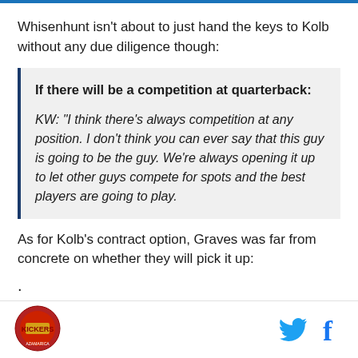Whisenhunt isn't about to just hand the keys to Kolb without any due diligence though:
If there will be a competition at quarterback:
KW: "I think there's always competition at any position. I don't think you can ever say that this guy is going to be the guy. We're always opening it up to let other guys compete for spots and the best players are going to play.
As for Kolb's contract option, Graves was far from concrete on whether they will pick it up:
.
[Figure (logo): Circular team logo with red, gold and blue colors and text around the border]
[Figure (logo): Twitter bird icon in light blue]
[Figure (logo): Facebook 'f' icon in blue]